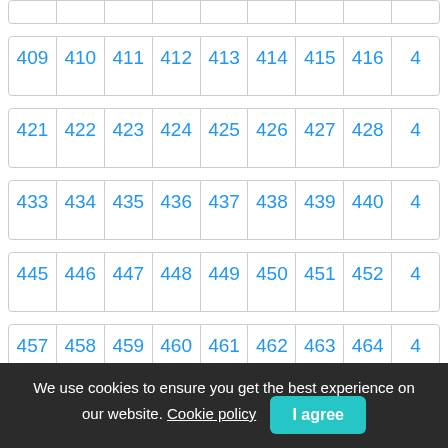|  |  |  |  |  |  |  |  |  |
| 409 | 410 | 411 | 412 | 413 | 414 | 415 | 416 | 4… |
| 421 | 422 | 423 | 424 | 425 | 426 | 427 | 428 | 4… |
| 433 | 434 | 435 | 436 | 437 | 438 | 439 | 440 | 4… |
| 445 | 446 | 447 | 448 | 449 | 450 | 451 | 452 | 4… |
| 457 | 458 | 459 | 460 | 461 | 462 | 463 | 464 | 4… |
| 469 | 470 | 471 | 472 | 473 | 474 | 475 | 476 | 4… |
We use cookies to ensure you get the best experience on our website. Cookie policy  I agree